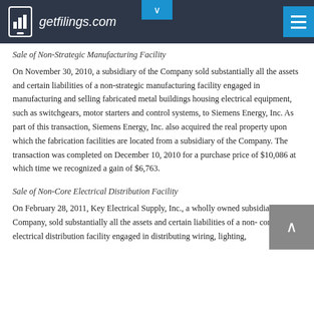getfilings.com
Sale of Non-Strategic Manufacturing Facility
On November 30, 2010, a subsidiary of the Company sold substantially all the assets and certain liabilities of a non-strategic manufacturing facility engaged in manufacturing and selling fabricated metal buildings housing electrical equipment, such as switchgears, motor starters and control systems, to Siemens Energy, Inc. As part of this transaction, Siemens Energy, Inc. also acquired the real property upon which the fabrication facilities are located from a subsidiary of the Company. The transaction was completed on December 10, 2010 for a purchase price of $10,086 at which time we recognized a gain of $6,763.
Sale of Non-Core Electrical Distribution Facility
On February 28, 2011, Key Electrical Supply, Inc., a wholly owned subsidiary of the Company, sold substantially all the assets and certain liabilities of a non-core electrical distribution facility engaged in distributing wiring, lighting,